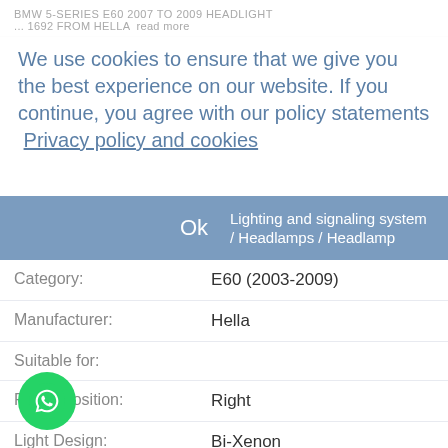BMW 5-SERIES E60 2007 TO 2009 HEADLIGHT
... 1692 FROM HELLA  read more
We use cookies to ensure that we give you the best experience on our website. If you continue, you agree with our policy statements  Privacy policy and cookies
| Label | Value |
| --- | --- |
| Parts: | Lighting and signaling system / Headlamps / Headlamp |
| Category: | E60 (2003-2009) |
| Manufacturer: | Hella |
| Suitable for: |  |
| Fitting Position: | Right |
| Light Design: | Bi-Xenon |
| Function: | with cornering light, with low beam, with indicator, with high beam, with position light, with side |